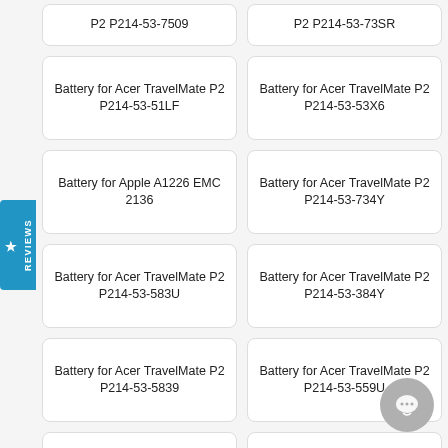P2 P214-53-7509
P2 P214-53-73SR
Battery for Acer TravelMate P2 P214-53-51LF
Battery for Acer TravelMate P2 P214-53-53X6
Battery for Apple A1226 EMC 2136
Battery for Acer TravelMate P2 P214-53-734Y
Battery for Acer TravelMate P2 P214-53-583U
Battery for Acer TravelMate P2 P214-53-384Y
Battery for Acer TravelMate P2 P214-53-5839
Battery for Acer TravelMate P2 P214-53-559U
Battery for Acer TravelMate P2 P214-53-73KC
Battery for Acer TravelMate P2 P214-53-593J
Battery for Apple A1150 EMC 2101
Battery for Acer TravelMate P2 P214-53-501U